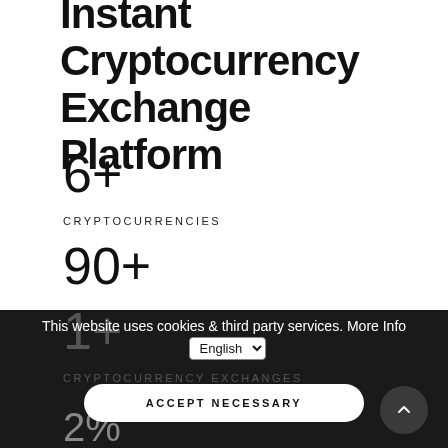Instant Cryptocurrency Exchange Platform
6+
CRYPTOCURRENCIES
90+
EXCHANGING CRYPTOCURRENCY PAIRS
1+
This website uses cookies & third party services. More Info
CRYPTOCURRENCY EXCHANGES
ACCEPT NECESSARY
2%